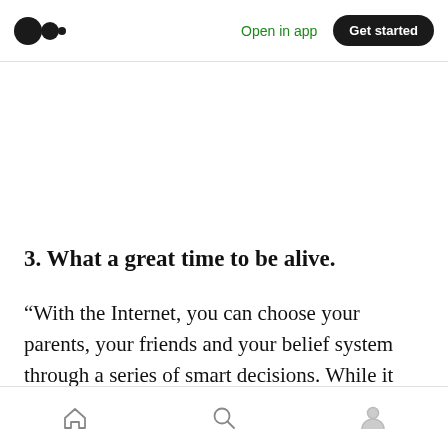Open in app  Get started
3. What a great time to be alive.
“With the Internet, you can choose your parents, your friends and your belief system through a series of smart decisions. While it seems extreme
[home] [search] [profile]